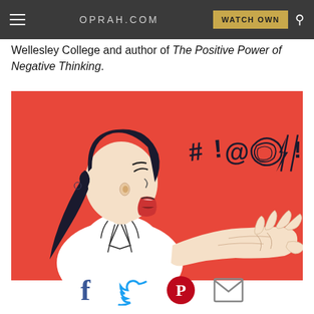OPRAH.COM  WATCH OWN
Wellesley College and author of The Positive Power of Negative Thinking.
[Figure (illustration): Illustration of a woman with a dark ponytail shouting, with cartoon curse symbols (#!@*⚡!!) coming from her mouth on a red background]
[Figure (other): Social sharing icons: Facebook, Twitter, Pinterest, Email]